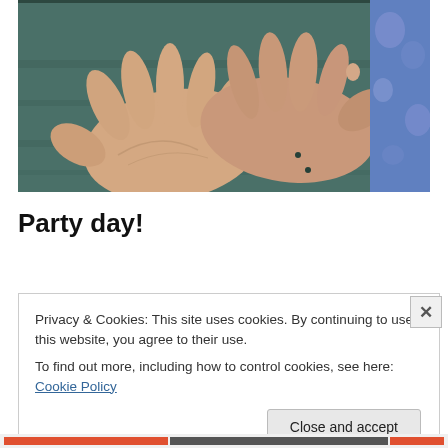[Figure (photo): Close-up photo of two open palms held face-up over a teal/green painted wooden bench, with a child wearing blue patterned swim shorts visible at the right edge.]
Party day!
Privacy & Cookies: This site uses cookies. By continuing to use this website, you agree to their use.
To find out more, including how to control cookies, see here: Cookie Policy
Close and accept